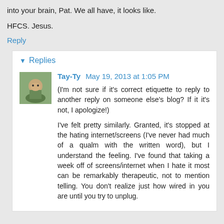I've long forgotten how to beam my thoughts and feelings into your brain, Pat. We all have, it looks like.
HFCS. Jesus.
Reply
Replies
Tay-Ty May 19, 2013 at 1:05 PM
(I'm not sure if it's correct etiquette to reply to another reply on someone else's blog? If it it's not, I apologize!)
I've felt pretty similarly. Granted, it's stopped at the hating internet/screens (I've never had much of a qualm with the written word), but I understand the feeling. I've found that taking a week off of screens/internet when I hate it most can be remarkably therapeutic, not to mention telling. You don't realize just how wired in you are until you try to unplug.